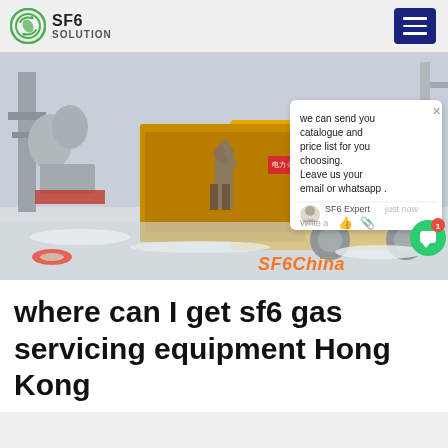SF6 SOLUTION
[Figure (photo): Yellow ISUZU truck at a snowy electrical substation with a worker standing beside it. A chat popup overlay is visible on the right side of the image showing: 'we can send you catalogue and price list for you choosing. Leave us your email or whatsapp . SF6 Expert just now Write a' with avatar and icons. A watermark reads 'SF6China' in the bottom right.]
where can I get sf6 gas servicing equipment Hong Kong